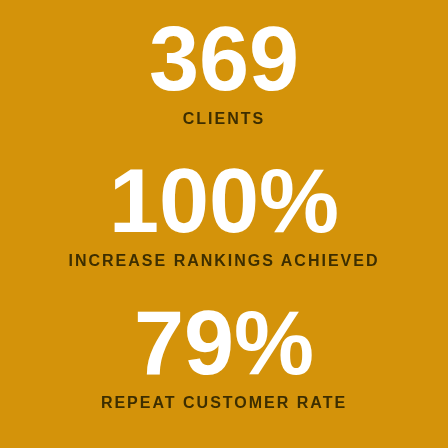369
CLIENTS
100%
INCREASE RANKINGS ACHIEVED
79%
REPEAT CUSTOMER RATE